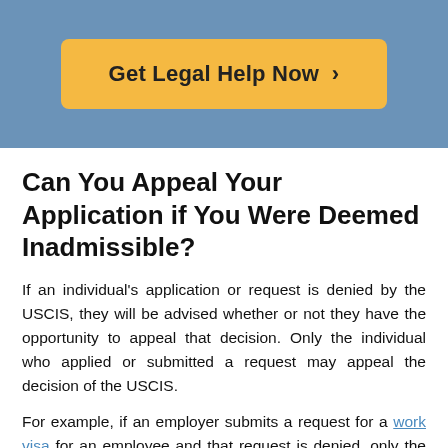[Figure (other): Blue banner header with a yellow/orange rounded button labeled 'Get Legal Help Now >']
Can You Appeal Your Application if You Were Deemed Inadmissible?
If an individual's application or request is denied by the USCIS, they will be advised whether or not they have the opportunity to appeal that decision. Only the individual who applied or submitted a request may appeal the decision of the USCIS.
For example, if an employer submits a request for a work visa for an employee and that request is denied, only the employer may appeal that decision, not the employee. Individuals are not permitted to appeal a denial of extension of stay, a change of nonimmigrant status, or an appeal.